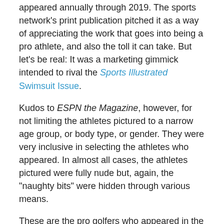appeared annually through 2019. The sports network's print publication pitched it as a way of appreciating the work that goes into being a pro athlete, and also the toll it can take. But let's be real: It was a marketing gimmick intended to rival the Sports Illustrated Swimsuit Issue.
Kudos to ESPN the Magazine, however, for not limiting the athletes pictured to a narrow age group, or body type, or gender. They were very inclusive in selecting the athletes who appeared. In almost all cases, the athletes pictured were fully nude but, again, the "naughty bits" were hidden through various means.
These are the pro golfers who appeared in the ESPN Body Issue by year:
2009 – Sandra Gal, Christina Kim, Anna Grzebian
2010 – Camilo Villegas
2011 – Belen Mozo
2012 – Suzann Pettersen